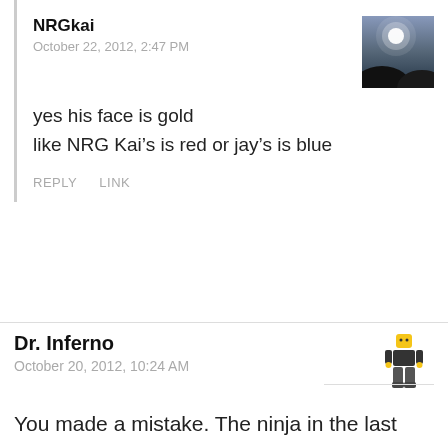NRGkai
October 22, 2012, 2:47 PM
yes his face is gold
like NRG Kai’s is red or jay’s is blue
REPLY    LINK
Dr. Inferno
October 20, 2012, 10:24 AM
You made a mistake. The ninja in the last picture isn’t Cole, its Zane. I like the new sets, but i think they’re lacking in